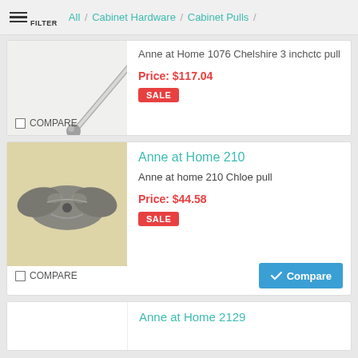FILTER / All / Cabinet Hardware / Cabinet Pulls /
[Figure (photo): Partial view of a metallic cabinet pull bar with a ball end, cropped at top of card]
Anne at Home 1076 Chelshire 3 inchctc pull
Price: $117.04
SALE
COMPARE
Anne at Home 210
Anne at home 210 Chloe pull
Price: $44.58
SALE
COMPARE
Compare
Anne at Home 2129